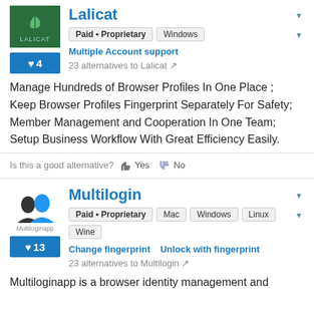Lalicat
Paid • Proprietary   Windows
Multiple Account support
23 alternatives to Lalicat
Manage Hundreds of Browser Profiles In One Place ; Keep Browser Profiles Fingerprint Separately For Safety; Member Management and Cooperation In One Team; Setup Business Workflow With Great Efficiency Easily.
Is this a good alternative? 👍 Yes 👎 No
Multilogin
Paid • Proprietary   Mac   Windows   Linux   Wine
Change fingerprint   Unlock with fingerprint
23 alternatives to Multilogin
Multiloginapp is a browser identity management and